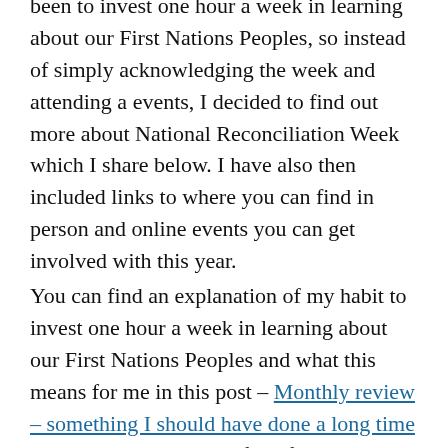been to invest one hour a week in learning about our First Nations Peoples, so instead of simply acknowledging the week and attending a events, I decided to find out more about National Reconciliation Week which I share below. I have also then included links to where you can find in person and online events you can get involved with this year.
You can find an explanation of my habit to invest one hour a week in learning about our First Nations Peoples and what this means for me in this post – Monthly review – something I should have done a long time ago. I also share some of the first